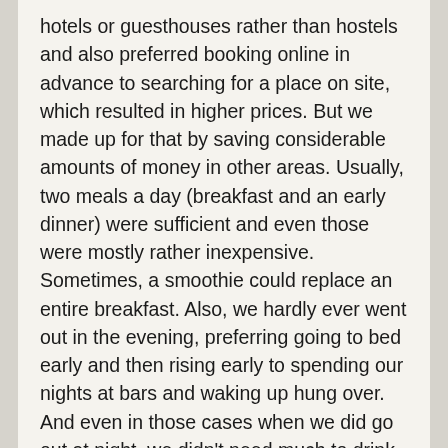hotels or guesthouses rather than hostels and also preferred booking online in advance to searching for a place on site, which resulted in higher prices. But we made up for that by saving considerable amounts of money in other areas. Usually, two meals a day (breakfast and an early dinner) were sufficient and even those were mostly rather inexpensive. Sometimes, a smoothie could replace an entire breakfast. Also, we hardly ever went out in the evening, preferring going to bed early and then rising early to spending our nights at bars and waking up hung over. And even in those cases when we did go out at night, we didn't need much to drink anyway because of our previous abstinence. And from what I saw, alcohol might have been the largest cost driver for some of our fellow travelers.